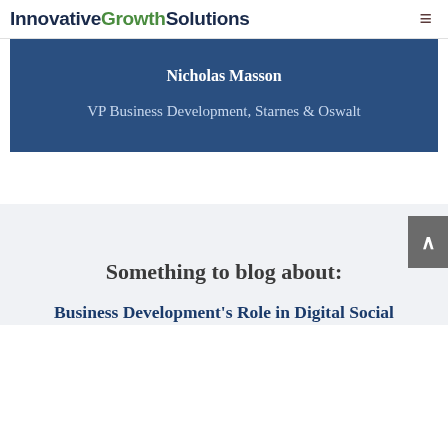InnovativeGrowthSolutions
Nicholas Masson
VP Business Development, Starnes & Oswalt
Something to blog about:
Business Development's Role in Digital Social